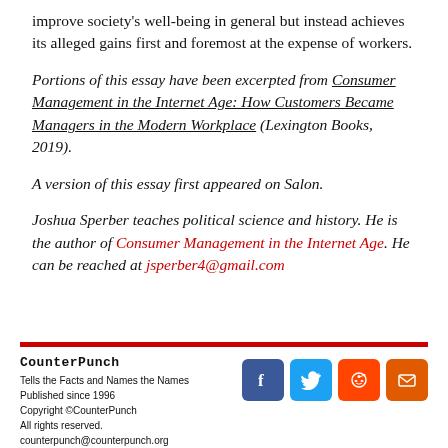improve society's well-being in general but instead achieves its alleged gains first and foremost at the expense of workers.
Portions of this essay have been excerpted from Consumer Management in the Internet Age: How Customers Became Managers in the Modern Workplace (Lexington Books, 2019).
A version of this essay first appeared on Salon.
Joshua Sperber teaches political science and history. He is the author of Consumer Management in the Internet Age. He can be reached at jsperber4@gmail.com
CounterPunch
Tells the Facts and Names the Names
Published since 1996
Copyright © CounterPunch
All rights reserved.
counterpunch@counterpunch.org